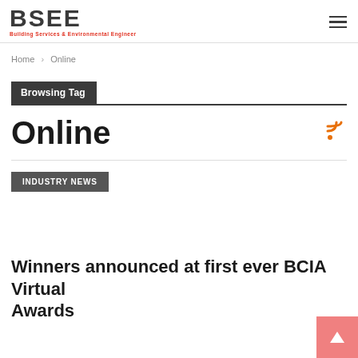BSEE – Building Services & Environmental Engineer
Home > Online
Browsing Tag
Online
INDUSTRY NEWS
Winners announced at first ever BCIA Virtual Awards